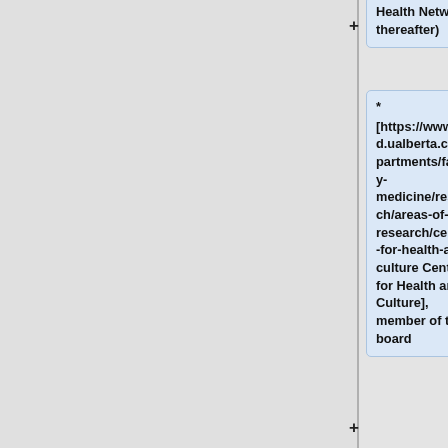Health Network thereafter)
* [https://www.med.ualberta.ca/departments/family-medicine/research/areas-of-research/centre-for-health-and-culture Centre for Health and Culture], member of the board
* [http://meis.ualberta.ca/ Middle Eastern and Islamic Studies Research